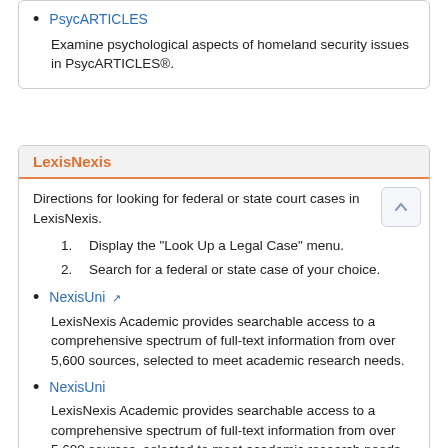PsycARTICLES — Examine psychological aspects of homeland security issues in PsycARTICLES®.
LexisNexis
Directions for looking for federal or state court cases in LexisNexis.
1. Display the "Look Up a Legal Case" menu.
2. Search for a federal or state case of your choice.
NexisUni — LexisNexis Academic provides searchable access to a comprehensive spectrum of full-text information from over 5,600 sources, selected to meet academic research needs.
NexisUni — LexisNexis Academic provides searchable access to a comprehensive spectrum of full-text information from over 5,600 sources, selected to meet academic research needs.